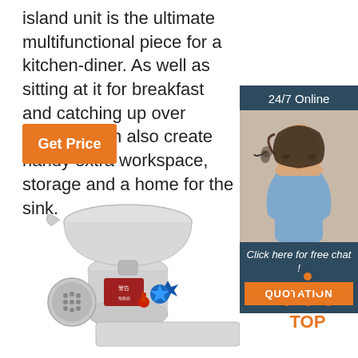island unit is the ultimate multifunctional piece for a kitchen-diner. As well as sitting at it for breakfast and catching up over coffee, it can also create handy extra workspace, storage and a home for the sink.
Get Price
[Figure (illustration): Sidebar with '24/7 Online' header, photo of a customer service representative wearing a headset, text 'Click here for free chat!', and an orange QUOTATION button]
[Figure (photo): Stainless steel commercial meat grinder with blue star-shaped knob, red label, and grinding plate with holes]
[Figure (illustration): Orange dotted triangle 'TOP' badge in lower right]